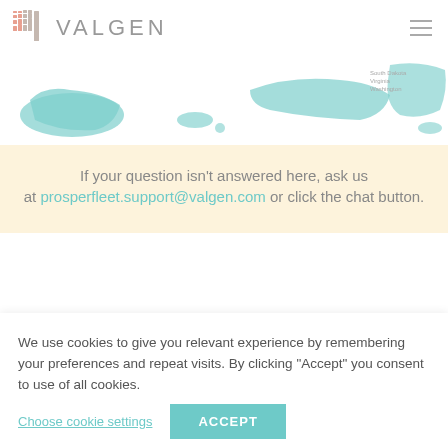[Figure (logo): Valgen logo with bar chart icon and text VALGEN]
[Figure (map): World map with teal/aqua highlighted regions including Alaska, Pacific islands, and eastern US coast, with text South Dakota, Virginia, Washington]
If your question isn't answered here, ask us at prosperfleet.support@valgen.com or click the chat button.
We use cookies to give you relevant experience by remembering your preferences and repeat visits. By clicking "Accept" you consent to use of all cookies.
Choose cookie settings
ACCEPT